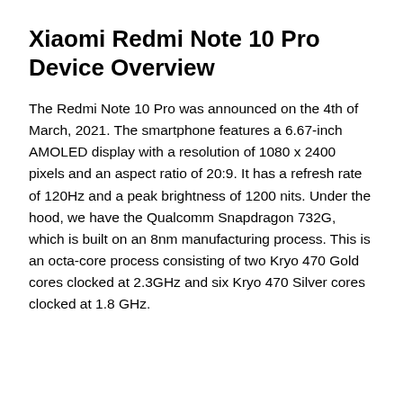Xiaomi Redmi Note 10 Pro Device Overview
The Redmi Note 10 Pro was announced on the 4th of March, 2021. The smartphone features a 6.67-inch AMOLED display with a resolution of 1080 x 2400 pixels and an aspect ratio of 20:9. It has a refresh rate of 120Hz and a peak brightness of 1200 nits. Under the hood, we have the Qualcomm Snapdragon 732G, which is built on an 8nm manufacturing process. This is an octa-core process consisting of two Kryo 470 Gold cores clocked at 2.3GHz and six Kryo 470 Silver cores clocked at 1.8 GHz.